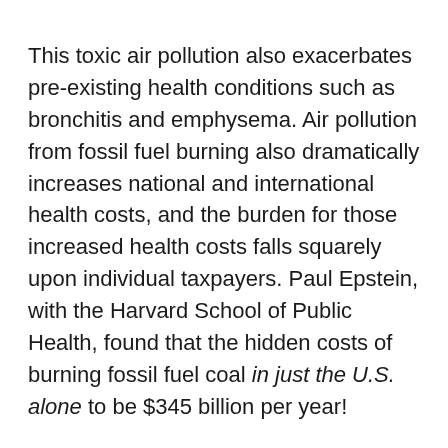This toxic air pollution also exacerbates pre-existing health conditions such as bronchitis and emphysema. Air pollution from fossil fuel burning also dramatically increases national and international health costs, and the burden for those increased health costs falls squarely upon individual taxpayers. Paul Epstein, with the Harvard School of Public Health, found that the hidden costs of burning fossil fuel coal in just the U.S. alone to be $345 billion per year!
The worst news is that in the future there will be many more than just the 1 in 8 global deaths attributed directly or indirectly to runaway global heating and fossil fuel-related air pollution. Do not be surprised to see a 1 in 7 to a 1 in 5 global death rate in the future. This death rate increase will be related to changes...